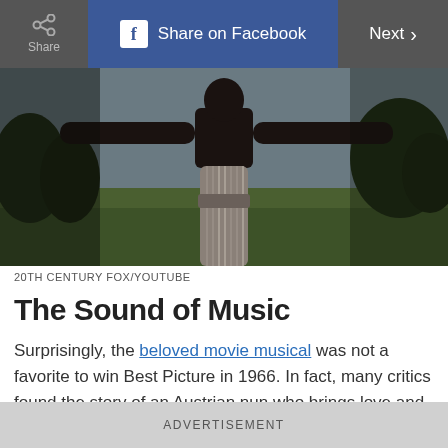Share | Share on Facebook | Next
[Figure (photo): A figure wearing a long ribbed/pleated dress or costume, arms outstretched, standing on a green field with a slightly overcast sky in the background. Image is cropped showing torso and arms.]
20TH CENTURY FOX/YOUTUBE
The Sound of Music
Surprisingly, the beloved movie musical was not a favorite to win Best Picture in 1966. In fact, many critics found the story of an Austrian nun who brings love and music to a widower and his seven children to be trivial. Respected The New York
ADVERTISEMENT